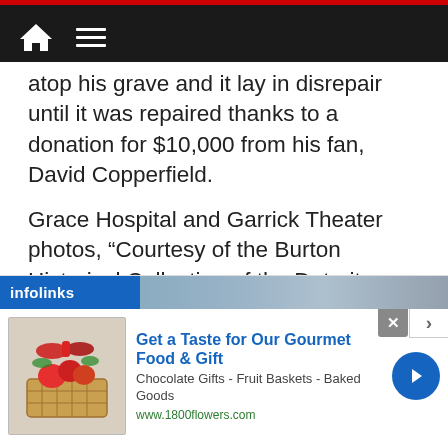[navigation bar with home icon and menu icon]
atop his grave and it lay in disrepair until it was repaired thanks to a donation for $10,000 from his fan, David Copperfield.
Grace Hospital and Garrick Theater photos, “Courtesy of the Burton Historical Collection of the Detroit Public Library.”
December 13, 2001, my friend Mark Cramer sends this picture of the Houdini Museum in Appleton, Wisconsin.
[Figure (screenshot): infolinks advertisement banner for 1800flowers.com: 'Get a Taste for Our Gourmet Food & Gift - Chocolate Gifts - Fruit Baskets - Baked Goods - www.1800flowers.com']